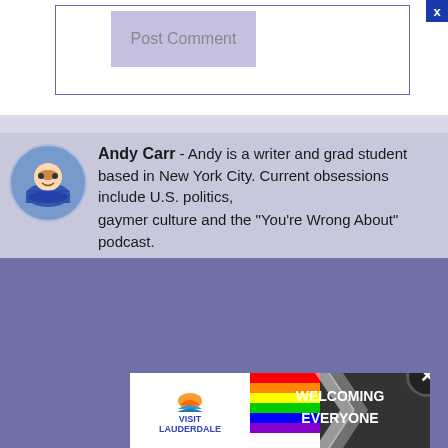[Figure (screenshot): Post Comment button UI element with text input area, bordered box, and close (x) button in blue at top right]
Andy Carr - Andy is a writer and grad student based in New York City. Current obsessions include U.S. politics, gaymer culture and the "You're Wrong About" podcast.
[Figure (photo): Advertisement banner: Visit Lauderdale - Welcoming Everyone, with pride flag and rainbow arrow design]